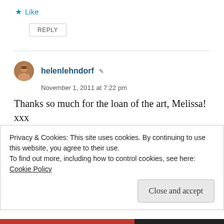★ Like
REPLY
helenlehndorf
November 1, 2011 at 7:22 pm
Thanks so much for the loan of the art, Melissa! xxx
★ Like
Privacy & Cookies: This site uses cookies. By continuing to use this website, you agree to their use.
To find out more, including how to control cookies, see here: Cookie Policy
Close and accept